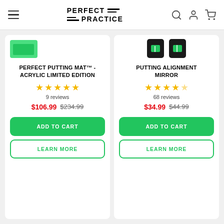Perfect Practice — navigation header
PERFECT PUTTING MAT™ - ACRYLIC LIMITED EDITION
9 reviews
$106.99  $234.99
PUTTING ALIGNMENT MIRROR
68 reviews
$34.99  $44.99